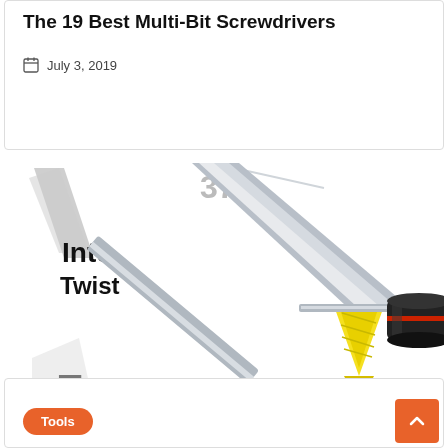The 19 Best Multi-Bit Screwdrivers
July 3, 2019
[Figure (photo): Product image showing two screwdrivers: a large multi-bit screwdriver with a yellow conical twist bit tip and text 'Inte Twist' and 'F' on the packaging, and a smaller black-handled bit holder with a flat bit extending from it.]
Tools